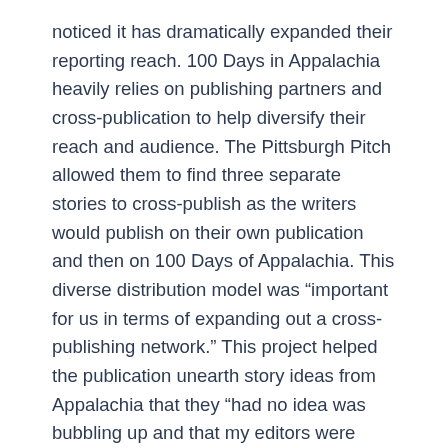noticed it has dramatically expanded their reporting reach. 100 Days in Appalachia heavily relies on publishing partners and cross-publication to help diversify their reach and audience. The Pittsburgh Pitch allowed them to find three separate stories to cross-publish as the writers would publish on their own publication and then on 100 Days of Appalachia. This diverse distribution model was “important for us in terms of expanding out a cross-publishing network.” This project helped the publication unearth story ideas from Appalachia that they “had no idea was bubbling up and that my editors were genuinely surprised about.”
Organization Background: 100 Days in Appalachia is a non-profit news outlet that aims to publish